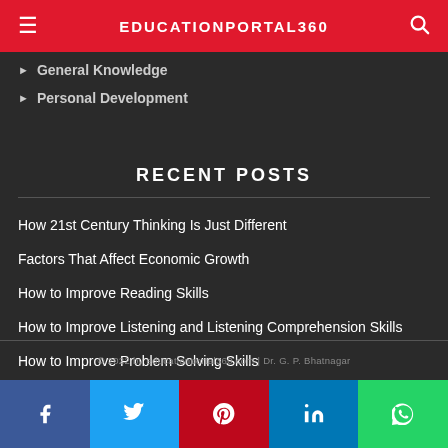EDUCATIONPORTAL360
General Knowledge
Personal Development
RECENT POSTS
How 21st Century Thinking Is Just Different
Factors That Affect Economic Growth
How to Improve Reading Skills
How to Improve Listening and Listening Comprehension Skills
How to Improve Problem Solving Skills
© 2022 by educationportal360.com | Dr. G. P. Bhatnagar